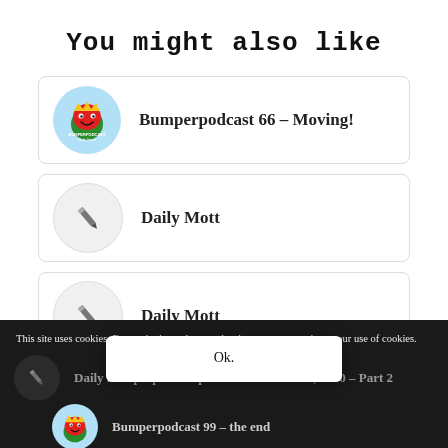You might also like
Bumperpodcast 66 - Moving!
Daily Mott
Daily Mott
This site uses cookies. By continuing to browse the site, you are agreeing to our use of cookies.
Daily Bumperpodcast presents: October 27, 2010 - Part 2
Ok.
Bumperpodcast 99 - the end